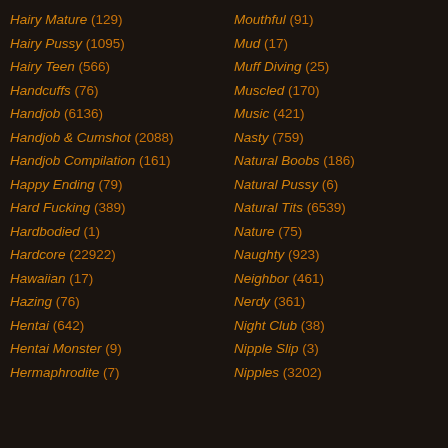Hairy Mature (129)
Hairy Pussy (1095)
Hairy Teen (566)
Handcuffs (76)
Handjob (6136)
Handjob & Cumshot (2088)
Handjob Compilation (161)
Happy Ending (79)
Hard Fucking (389)
Hardbodied (1)
Hardcore (22922)
Hawaiian (17)
Hazing (76)
Hentai (642)
Hentai Monster (9)
Hermaphrodite (7)
Mouthful (91)
Mud (17)
Muff Diving (25)
Muscled (170)
Music (421)
Nasty (759)
Natural Boobs (186)
Natural Pussy (6)
Natural Tits (6539)
Nature (75)
Naughty (923)
Neighbor (461)
Nerdy (361)
Night Club (38)
Nipple Slip (3)
Nipples (3202)